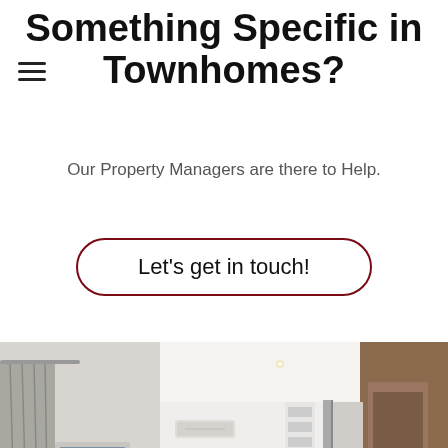Something Specific in Townhomes?
Our Property Managers are there to Help.
Let's get in touch!
[Figure (photo): Interior photo of a modern townhome living room with white walls, gray curtains, a TV on a console, a wall-mounted air conditioner, a framed mirror above a console table, and wooden doors/walls visible on the right side.]